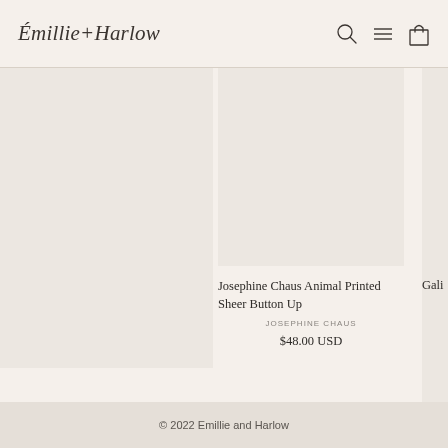Émillie+Harlow
[Figure (other): Product image placeholder - left card (empty/blank beige rectangle)]
[Figure (other): Product image placeholder - center card (empty/blank beige rectangle)]
Josephine Chaus Animal Printed Sheer Button Up
JOSEPHINE CHAUS
$48.00 USD
Gali
© 2022 Emillie and Harlow